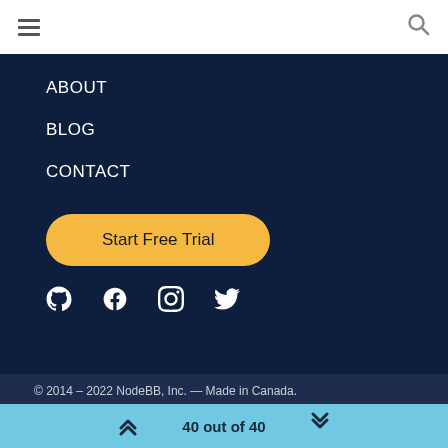≡  🔍
ABOUT
BLOG
CONTACT
Start Free Trial
[Figure (illustration): Social media icons: GitHub, Facebook, Instagram, Twitter]
© 2014 – 2022 NodeBB, Inc. — Made in Canada.
Terms   Privacy   GDPR   DMCA   Contact
40 out of 40